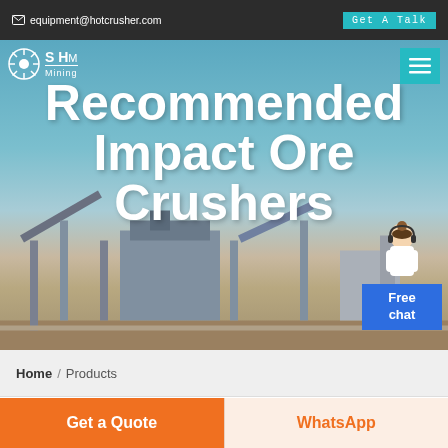equipment@hotcrusher.com | Get A Talk
[Figure (photo): Mining equipment / crusher plant site hero image with large overlay text 'Recommended Impact Ore Crushers']
Recommended Impact Ore Crushers
Home / Products
Different Machines To Meet All
Get a Quote | WhatsApp